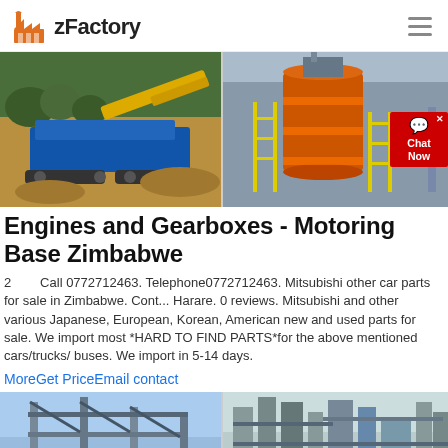zFactory
[Figure (photo): Two industrial photos side by side: left shows a mobile crusher/screening machine with yellow and blue equipment on dirt terrain; right shows a large industrial ball mill or grinding machine with orange and grey coloring, yellow railings, on an industrial site.]
Engines and Gearboxes - Motoring Base Zimbabwe
2        Call 0772712463. Telephone0772712463. Mitsubishi other car parts for sale in Zimbabwe. Cont... Harare. 0 reviews. Mitsubishi and other various Japanese, European, Korean, American new and used parts for sale. We import most *HARD TO FIND PARTS*for the above mentioned cars/trucks/ buses. We import in 5-14 days.
MoreGet PriceEmail contact
[Figure (photo): Two industrial photos side by side: left shows a steel conveyor or structural frame against blue sky; right shows a large industrial plant with metal towers, silos, and processing equipment.]